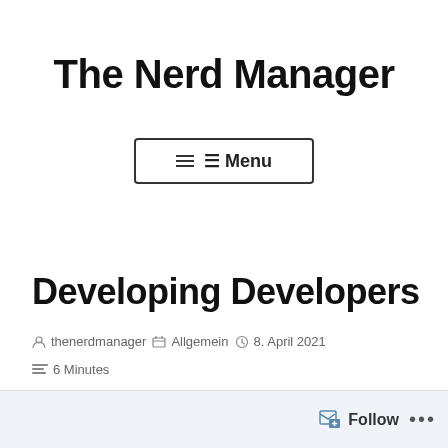The Nerd Manager
[Figure (other): Menu button with hamburger icon and text 'Menu']
Developing Developers
thenerdmanager   Allgemein   8. April 2021
6 Minutes
Follow ...